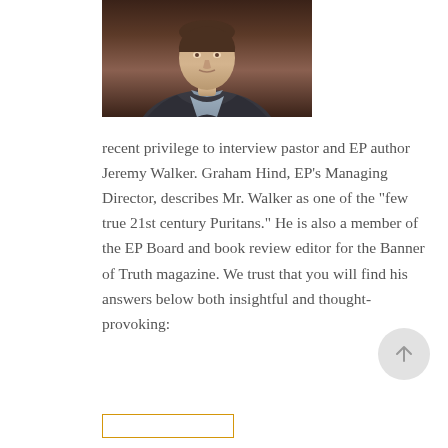[Figure (photo): Portrait photograph of a man in a dark jacket and light blue collared shirt, photographed from chest up against a dark background.]
recent privilege to interview pastor and EP author Jeremy Walker. Graham Hind, EP's Managing Director, describes Mr. Walker as one of the "few true 21st century Puritans." He is also a member of the EP Board and book review editor for the Banner of Truth magazine. We trust that you will find his answers below both insightful and thought-provoking: